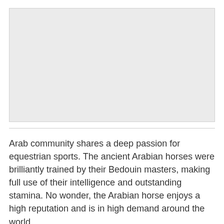[Figure (photo): A light gray placeholder image area representing a photograph, likely of Arabian horses or equestrian sport.]
Arab community shares a deep passion for equestrian sports. The ancient Arabian horses were brilliantly trained by their Bedouin masters, making full use of their intelligence and outstanding stamina. No wonder, the Arabian horse enjoys a high reputation and is in high demand around the world.